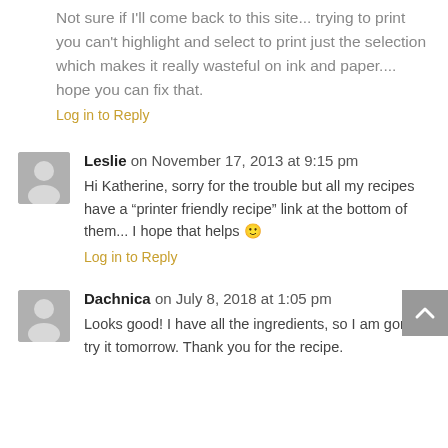Not sure if I'll come back to this site... trying to print you can't highlight and select to print just the selection which makes it really wasteful on ink and paper.... hope you can fix that.
Log in to Reply
Leslie on November 17, 2013 at 9:15 pm
Hi Katherine, sorry for the trouble but all my recipes have a “printer friendly recipe” link at the bottom of them... I hope that helps 🙂
Log in to Reply
Dachnica on July 8, 2018 at 1:05 pm
Looks good! I have all the ingredients, so I am gonna try it tomorrow. Thank you for the recipe.